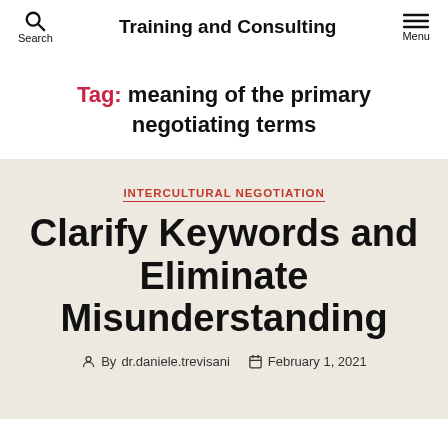Search | Training and Consulting | Menu
Tag: meaning of the primary negotiating terms
INTERCULTURAL NEGOTIATION
Clarify Keywords and Eliminate Misunderstanding
By dr.daniele.trevisani  February 1, 2021